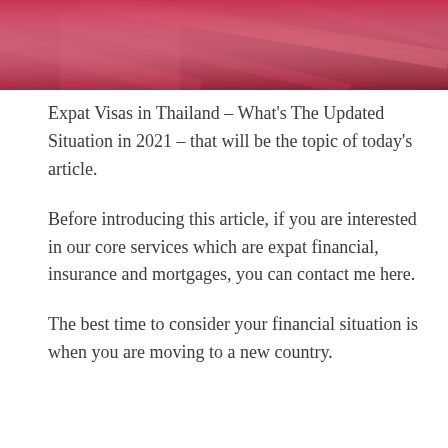[Figure (photo): Header image with dark pink/crimson tones showing an abstract architectural or interior background]
Expat Visas in Thailand – What's The Updated Situation in 2021 – that will be the topic of today's article.
Before introducing this article, if you are interested in our core services which are expat financial, insurance and mortgages, you can contact me here.
The best time to consider your financial situation is when you are moving to a new country.